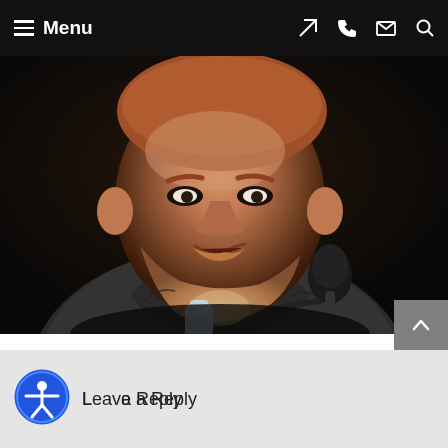Menu
[Figure (photo): Close-up photo of a man with reddish beard and hair, wearing a grey hoodie jacket, speaking into a microphone at what appears to be a panel event. A water bottle is visible in the lower left. Dark background.]
By Tod C. Gurney | Published May 6, 2015 | Posted in Copyright Infringement | Tagged Copyright Infringement
Leave a Reply